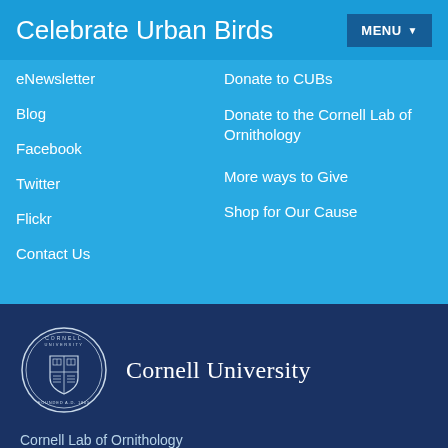Celebrate Urban Birds  MENU
eNewsletter
Blog
Facebook
Twitter
Flickr
Contact Us
Donate to CUBs
Donate to the Cornell Lab of Ornithology
More ways to Give
Shop for Our Cause
[Figure (logo): Cornell University seal/crest logo — circular emblem with shield and text 'CORNELL UNIVERSITY FOUNDED A.D. 1865']
Cornell University
Cornell Lab of Ornithology
159 Sapsucker Woods Rd
Ithaca, NY 14850